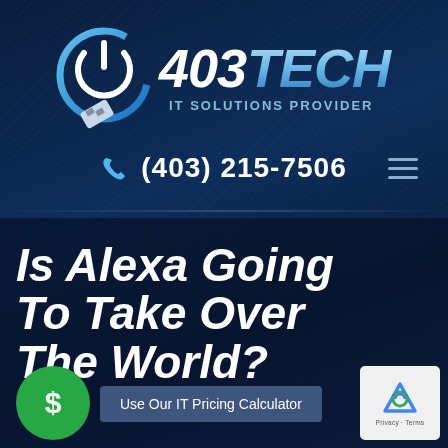[Figure (logo): 403 TECH IT Solutions Provider logo with blue power button icon and ethernet cable graphic]
(403) 215-7506
Is Alexa Going To Take Over The World?
Use Our IT Pricing Calculator